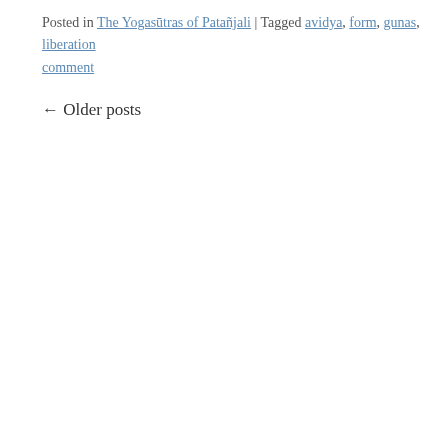Posted in The Yogasūtras of Patañjali | Tagged avidya, form, gunas, liberation … comment
← Older posts